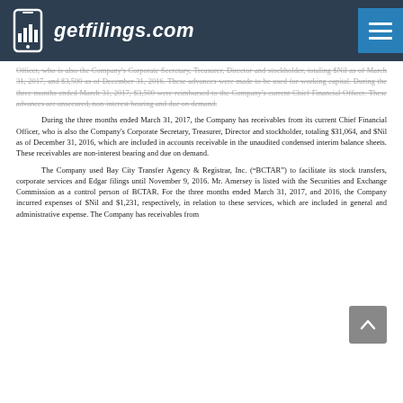getfilings.com
Officer, who is also the Company's Corporate Secretary, Treasurer, Director and stockholder, totaling $Nil as of March 31, 2017, and $3,500 as of December 31, 2016. These advances were made to be used for working capital. During the three months ended March 31, 2017, $3,500 were reimbursed to the Company's current Chief Financial Officer. These advances are unsecured, non-interest bearing and due on demand.
During the three months ended March 31, 2017, the Company has receivables from its current Chief Financial Officer, who is also the Company's Corporate Secretary, Treasurer, Director and stockholder, totaling $31,064, and $Nil as of December 31, 2016, which are included in accounts receivable in the unaudited condensed interim balance sheets. These receivables are non-interest bearing and due on demand.
The Company used Bay City Transfer Agency & Registrar, Inc. ("BCTAR") to facilitate its stock transfers, corporate services and Edgar filings until November 9, 2016. Mr. Amersey is listed with the Securities and Exchange Commission as a control person of BCTAR. For the three months ended March 31, 2017, and 2016, the Company incurred expenses of $Nil and $1,231, respectively, in relation to these services, which are included in general and administrative expense. The Company has receivables from